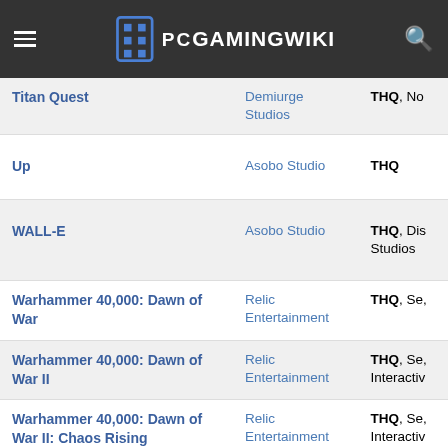PCGamingWiki
| Game | Developer | Publisher |
| --- | --- | --- |
| Titan Quest | Demiurge Studios | THQ, No... |
| Up | Asobo Studio | THQ |
| WALL-E | Asobo Studio | THQ, Dis... Studios |
| Warhammer 40,000: Dawn of War | Relic Entertainment | THQ, Se,... |
| Warhammer 40,000: Dawn of War II | Relic Entertainment | THQ, Se,... Interactiv... |
| Warhammer 40,000: Dawn of War II: Chaos Rising | Relic Entertainment | THQ, Se,... Interactiv... |
| Warhammer 40,000: Dawn of War ... | Relic Entertainment | THQ, Se,... |